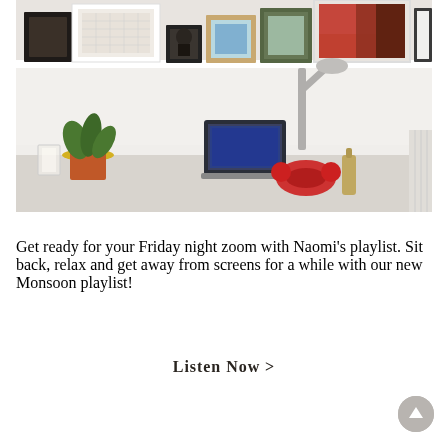[Figure (photo): A home office desk scene with a white floating shelf above holding multiple framed artworks and photos. On the desk: a laptop, red headphones, a potted plant, a glass, and a chrome desk lamp. A radiator is partially visible on the right.]
Get ready for your Friday night zoom with Naomi's playlist. Sit back, relax and get away from screens for a while with our new Monsoon playlist!
Listen Now >